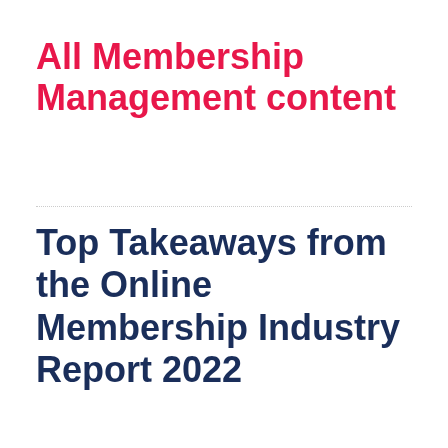All Membership Management content
Top Takeaways from the Online Membership Industry Report 2022